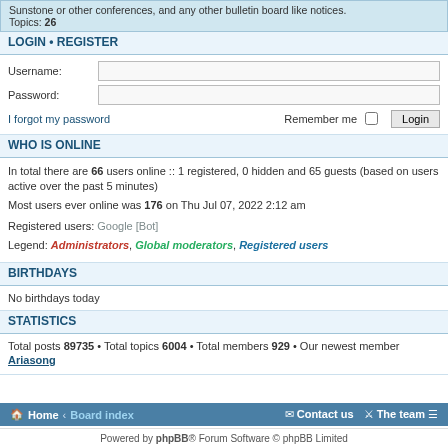Sunstone or other conferences, and any other bulletin board like notices. Topics: 26
LOGIN • REGISTER
Username:
Password:
I forgot my password    Remember me  Login
WHO IS ONLINE
In total there are 66 users online :: 1 registered, 0 hidden and 65 guests (based on users active over the past 5 minutes)
Most users ever online was 176 on Thu Jul 07, 2022 2:12 am
Registered users: Google [Bot]
Legend: Administrators, Global moderators, Registered users
BIRTHDAYS
No birthdays today
STATISTICS
Total posts 89735 • Total topics 6004 • Total members 929 • Our newest member Ariasong
Home · Board index   Contact us   The team
Powered by phpBB® Forum Software © phpBB Limited